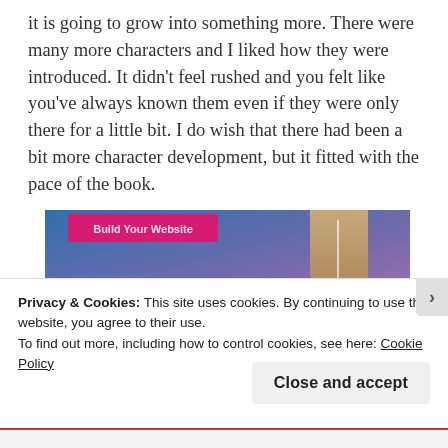it is going to grow into something more. There were many more characters and I liked how they were introduced. It didn't feel rushed and you felt like you've always known them even if they were only there for a little bit. I do wish that there had been a bit more character development, but it fitted with the pace of the book.
[Figure (screenshot): A partial screenshot of a website advertisement with a blue-to-purple gradient background, a pink/magenta button labeled 'Build Your Website', and a tan/beige book or device element on the right side.]
Privacy & Cookies: This site uses cookies. By continuing to use this website, you agree to their use.
To find out more, including how to control cookies, see here: Cookie Policy
Close and accept